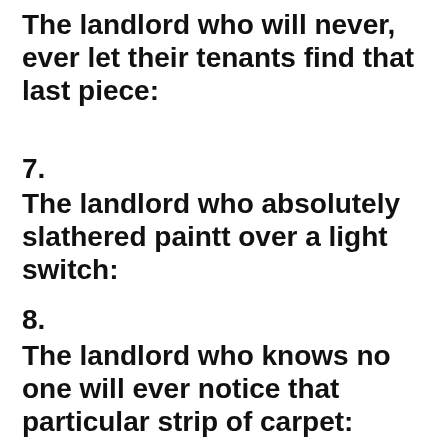The landlord who will never, ever let their tenants find that last piece:
7.
The landlord who absolutely slathered paintt over a light switch:
8.
The landlord who knows no one will ever notice that particular strip of carpet: